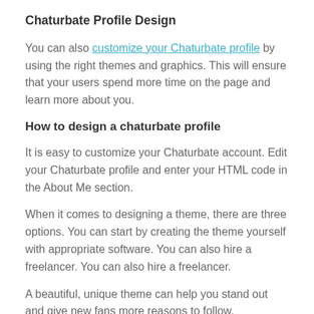Chaturbate Profile Design
You can also customize your Chaturbate profile by using the right themes and graphics. This will ensure that your users spend more time on the page and learn more about you.
How to design a chaturbate profile
It is easy to customize your Chaturbate account. Edit your Chaturbate profile and enter your HTML code in the About Me section.
When it comes to designing a theme, there are three options. You can start by creating the theme yourself with appropriate software. You can also hire a freelancer. You can also hire a freelancer.
A beautiful, unique theme can help you stand out and give new fans more reasons to follow.
Conclusion